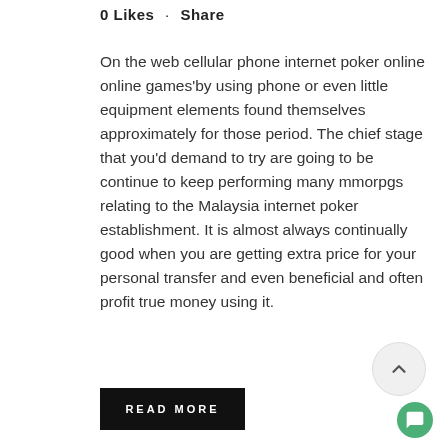0 Likes · Share
On the web cellular phone internet poker online online games'by using phone or even little equipment elements found themselves approximately for those period. The chief stage that you'd demand to try are going to be continue to keep performing many mmorpgs relating to the Malaysia internet poker establishment. It is almost always continually good when you are getting extra price for your personal transfer and even beneficial and often profit true money using it.
READ MORE